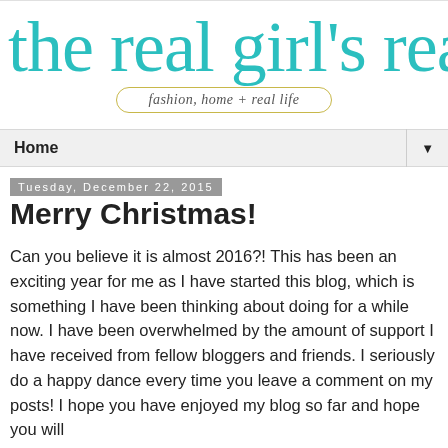the real girl's realm
fashion, home + real life
Home
Tuesday, December 22, 2015
Merry Christmas!
Can you believe it is almost 2016?!  This has been an exciting year for me as I have started this blog, which is something I have been thinking about doing for a while now.  I have been overwhelmed by the amount of support I have received from fellow bloggers and friends.  I seriously do a happy dance every time you leave a comment on my posts!  I hope you have enjoyed my blog so far and hope you will